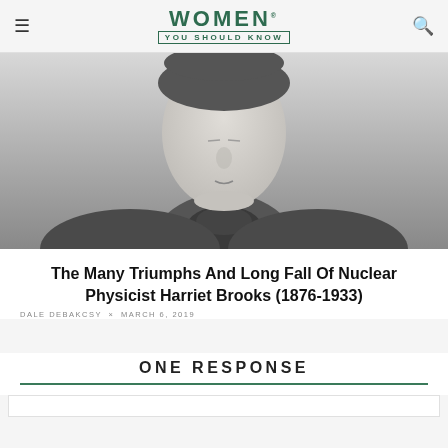WOMEN YOU SHOULD KNOW
[Figure (photo): Black and white portrait photograph of Harriet Brooks, showing her face and upper body, wearing a high-collared dark jacket, early 20th century style.]
The Many Triumphs And Long Fall Of Nuclear Physicist Harriet Brooks (1876-1933)
DALE DEBAKCSY × MARCH 6, 2019
ONE RESPONSE